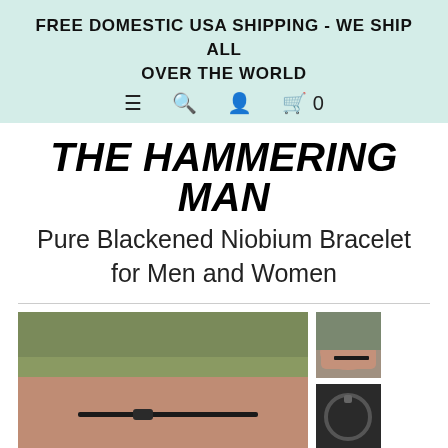FREE DOMESTIC USA SHIPPING - WE SHIP ALL OVER THE WORLD
THE HAMMERING MAN
Pure Blackened Niobium Bracelet for Men and Women
[Figure (photo): Main product photo showing a man's wrist wearing a thin black niobium bracelet, photographed outdoors on grass/gravel background]
[Figure (photo): Thumbnail: wrist with bracelet worn, distant view]
[Figure (photo): Thumbnail: close-up of the niobium bracelet clasp/links on dark background]
[Figure (photo): Thumbnail: partial view, partially visible]